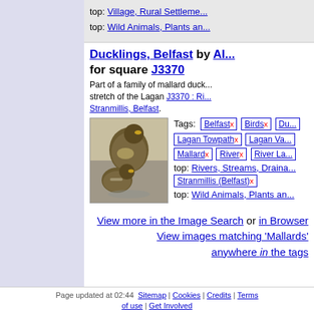top: Village, Rural Settlement...
top: Wild Animals, Plants an...
Ducklings, Belfast by Al... for square J3370
Part of a family of mallard duck... stretch of the Lagan J3370 : Ri... Stranmillis, Belfast.
[Figure (photo): Two mallard ducklings swimming on water]
Tags: Belfast x  Birds x  Du...
Lagan Towpath x  Lagan Va...
Mallard x  River x  River La...
top: Rivers, Streams, Draina...
Stranmillis (Belfast) x
top: Wild Animals, Plants an...
View more in the Image Search or in Browser
View images matching 'Mallards' anywhere in the tags
Page updated at 02:44  Sitemap | Cookies | Credits | Terms of use | Get Involved